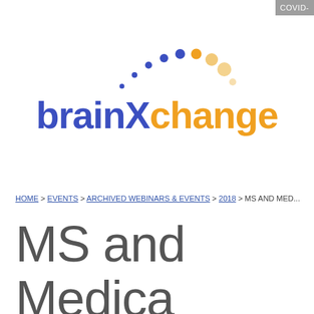[Figure (logo): brainXchange logo with dot arc in blue and orange above the wordmark]
HOME > EVENTS > ARCHIVED WEBINARS & EVENTS > 2018 > MS AND MED...
MS and Medica Approach